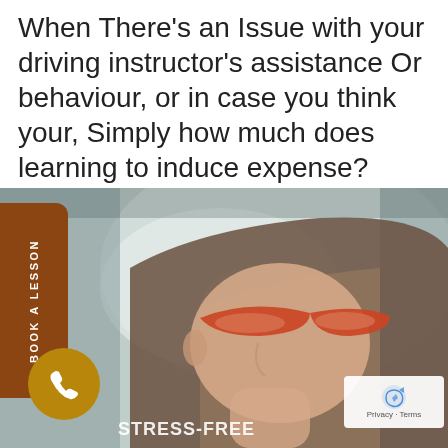When There's an Issue with your driving instructor's assistance Or behaviour, or in case you think your, Simply how much does learning to induce expense?
[Figure (photo): Woman with orange sunglasses sitting in a car, viewed from the side profile, with a brown 'BOOK A LESSON' vertical button tab on the left, a gold phone icon circle at the bottom left, and 'STRESS-FREE' text overlay at the bottom. A Google Maps privacy notice appears in the bottom right corner.]